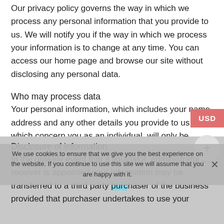Our privacy policy governs the way in which we process any personal information that you provide to us. We will notify you if the way in which we process your information is to change at any time. You can access our home page and browse our site without disclosing any personal data.
Who may process data
Your personal information, which includes your name, address and any other details you provide to us which concern you as an individual, will only be processed by us for the purposes of answering your enquiry.
Disclosure of information
In the unlikely event that a liquidator, administrator or receiver is appointed your information may be transferred to a third party purchaser of the business provided that purchaser undertakes to use your